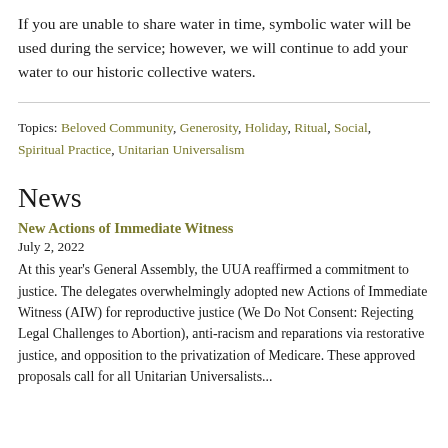If you are unable to share water in time, symbolic water will be used during the service; however, we will continue to add your water to our historic collective waters.
Topics: Beloved Community, Generosity, Holiday, Ritual, Social, Spiritual Practice, Unitarian Universalism
News
New Actions of Immediate Witness
July 2, 2022
At this year's General Assembly, the UUA reaffirmed a commitment to justice. The delegates overwhelmingly adopted new Actions of Immediate Witness (AIW) for reproductive justice (We Do Not Consent: Rejecting Legal Challenges to Abortion), anti-racism and reparations via restorative justice, and opposition to the privatization of Medicare. These approved proposals call for all Unitarian Universalists...